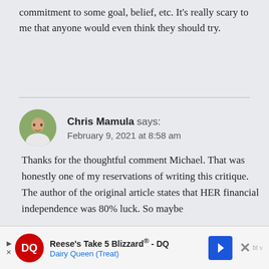commitment to some goal, belief, etc. It's really scary to me that anyone would even think they should try.
Chris Mamula says:
February 9, 2021 at 8:58 am
Thanks for the thoughtful comment Michael. That was honestly one of my reservations of writing this critique. The author of the original article states that HER financial independence was 80% luck. So maybe
[Figure (other): Advertisement banner: Reese's Take 5 Blizzard® - DQ, Dairy Queen (Treat) with DQ logo, navigation arrow icon, and close button]